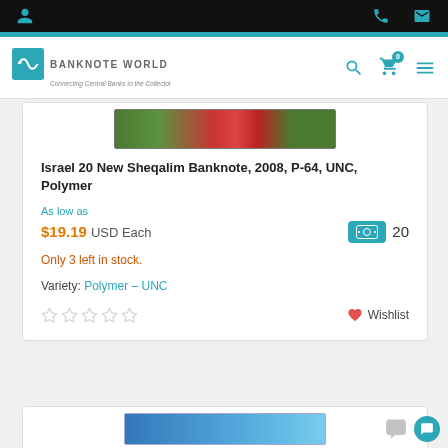[Figure (screenshot): Banknote World e-commerce website screenshot showing navigation bar with logo, search, cart (0), and menu icons on a dark top bar and white nav bar]
Israel 20 New Sheqalim Banknote, 2008, P-64, UNC, Polymer
As low as
$19.19 USD Each  20
Only 3 left in stock.
Variety: Polymer – UNC
Wishlist